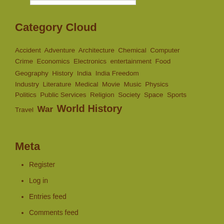Category Cloud
Accident Adventure Architecture Chemical Computer Crime Economics Electronics entertainment Food Geography History India India Freedom Industry Literature Medical Movie Music Physics Politics Public Services Religion Society Space Sports Travel War World History
Meta
Register
Log in
Entries feed
Comments feed